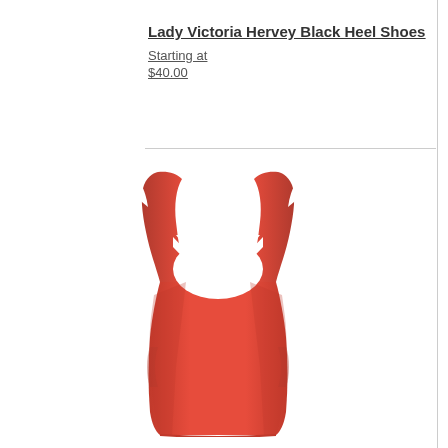Lady Victoria Hervey Black Heel Shoes
Starting at
$40.00
[Figure (photo): A red sleeveless tank top / singlet displayed on a white background, showing the front view of the garment with wide shoulder straps and a scoop neckline.]